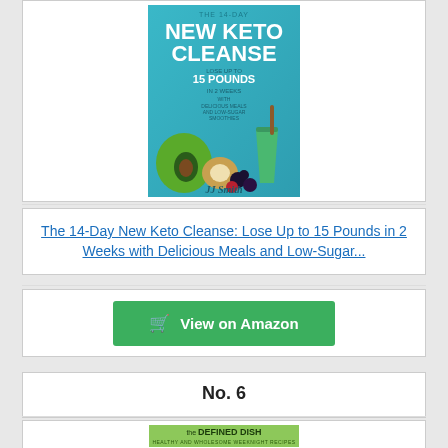[Figure (illustration): Book cover: The 14-Day New Keto Cleanse by JJ Smith, showing avocado, coconut, berries, and a green smoothie glass on a teal/green background.]
The 14-Day New Keto Cleanse: Lose Up to 15 Pounds in 2 Weeks with Delicious Meals and Low-Sugar...
View on Amazon
No. 6
[Figure (illustration): Book cover: The Defined Dish — Healthy and Wholesome Weeknight Recipes, Whole30 Endorsed, showing plates of food on a green background.]